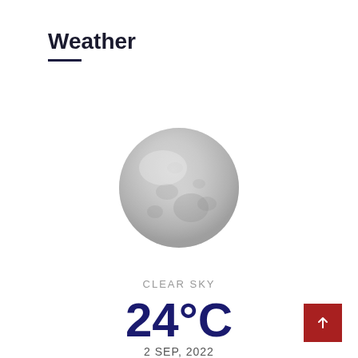Weather
[Figure (illustration): Full moon icon - grey sphere with subtle surface detail shading]
CLEAR SKY
24°C
2 SEP, 2022
Valletta, MT